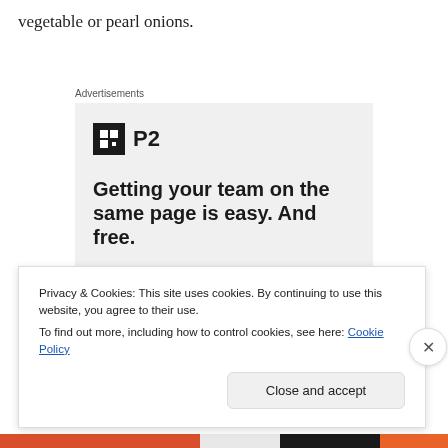vegetable or pearl onions.
Advertisements
[Figure (infographic): Advertisement for P2 product. Shows P2 logo (black square with grid icon and 'P2' text), headline 'Getting your team on the same page is easy. And free.' with four circular avatar photos/icons below.]
Privacy & Cookies: This site uses cookies. By continuing to use this website, you agree to their use.
To find out more, including how to control cookies, see here: Cookie Policy
Close and accept